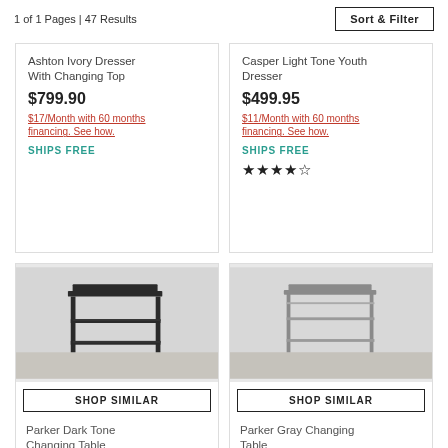1 of 1 Pages | 47 Results
Sort & Filter
Ashton Ivory Dresser With Changing Top
$799.90
$17/Month with 60 months financing. See how.
SHIPS FREE
Casper Light Tone Youth Dresser
$499.95
$11/Month with 60 months financing. See how.
SHIPS FREE
★★★★½
[Figure (photo): Parker Dark Tone Changing Table - dark metal frame changing table with shelves]
SHOP SIMILAR
Parker Dark Tone Changing Table
[Figure (photo): Parker Gray Changing Table - gray metal frame changing table with shelves]
SHOP SIMILAR
Parker Gray Changing Table